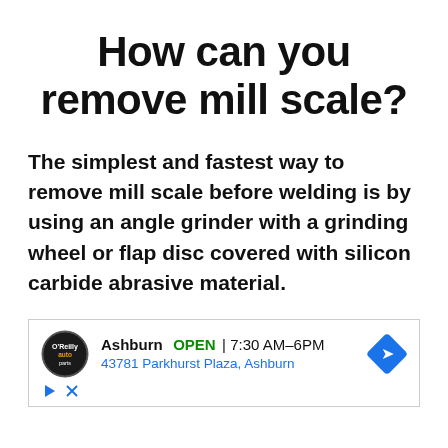How can you remove mill scale?
The simplest and fastest way to remove mill scale before welding is by using an angle grinder with a grinding wheel or flap disc covered with silicon carbide abrasive material.
[Figure (other): Advertisement banner for O'Reilly Auto Parts showing Ashburn location, OPEN status, hours 7:30 AM-6PM, address 43781 Parkhurst Plaza, Ashburn, with store logo and navigation arrow icon.]